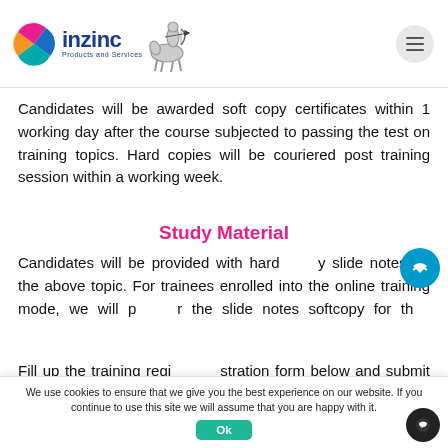[Figure (logo): Inzinc Products and Services logo with colorful pinwheel icon and archer/sagittarius illustration]
Candidates will be awarded soft copy certificates within 1 working day after the course subjected to passing the test on training topics. Hard copies will be couriered post training session within a working week.
Study Material
Candidates will be provided with hard copy slide notes on the above topic. For trainees enrolled into the online training mode, we will provide the slide notes softcopy for their reference.
Fill up the training registration form below and submit the details to enable us to provide you with an offer.
We use cookies to ensure that we give you the best experience on our website. If you continue to use this site we will assume that you are happy with it.